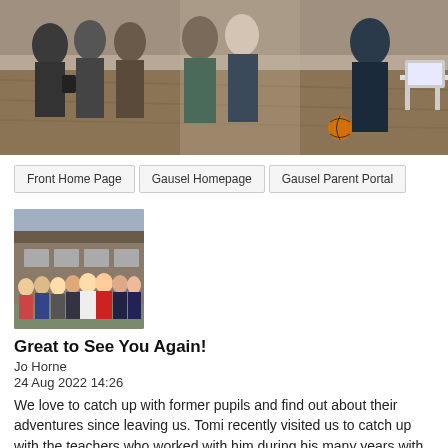[Figure (photo): Indoor gym/hall scene with people standing and talking, basketball visible on floor, tables in background]
Front Home Page
Gausel Homepage
Gausel Parent Portal
[Figure (photo): Group of people standing outside in front of a school building]
Great to See You Again!
Jo Horne
24 Aug 2022 14:26
We love to catch up with former pupils and find out about their adventures since leaving us. Tomi recently visited us to catch up with the teachers who worked with him during his many years with BISS. He's about to start his final year of a Film and Television Degree in Los Angeles and we